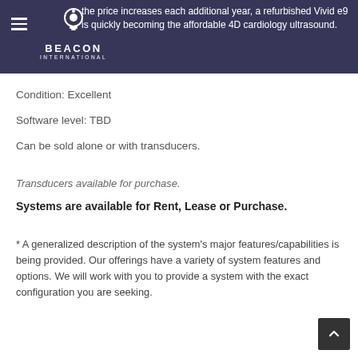the price increases each additional year, a refurbished Vivid e9 is quickly becoming the affordable 4D cardiology ultrasound.
[Figure (logo): Beacon International logo with hamburger menu icon on dark navy background]
Condition: Excellent
Software level: TBD
Can be sold alone or with transducers.
Transducers available for purchase.
Systems are available for Rent, Lease or Purchase.
* A generalized description of the system's major features/capabilities is being provided. Our offerings have a variety of system features and options. We will work with you to provide a system with the exact configuration you are seeking.